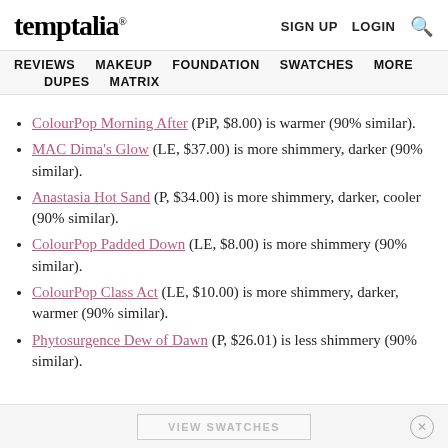temptalia® | SIGN UP  LOGIN  🔍
REVIEWS  MAKEUP  FOUNDATION  SWATCHES  MORE  DUPES  MATRIX
ColourPop Morning After (PiP, $8.00) is warmer (90% similar).
MAC Dima's Glow (LE, $37.00) is more shimmery, darker (90% similar).
Anastasia Hot Sand (P, $34.00) is more shimmery, darker, cooler (90% similar).
ColourPop Padded Down (LE, $8.00) is more shimmery (90% similar).
ColourPop Class Act (LE, $10.00) is more shimmery, darker, warmer (90% similar).
Phytosurgence Dew of Dawn (P, $26.01) is less shimmery (90% similar).
VIEW SWATCHES